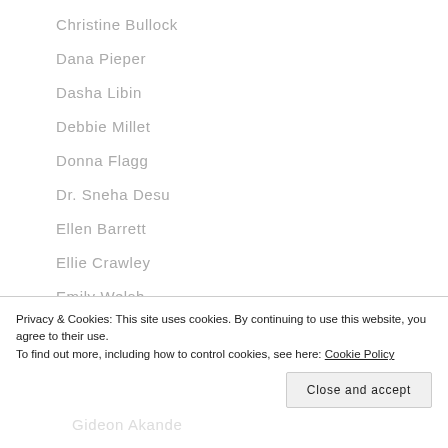Christine Bullock
Dana Pieper
Dasha Libin
Debbie Millet
Donna Flagg
Dr. Sneha Desu
Ellen Barrett
Ellie Crawley
Emily Welsh
Gideon Akande
Privacy & Cookies: This site uses cookies. By continuing to use this website, you agree to their use. To find out more, including how to control cookies, see here: Cookie Policy
Close and accept